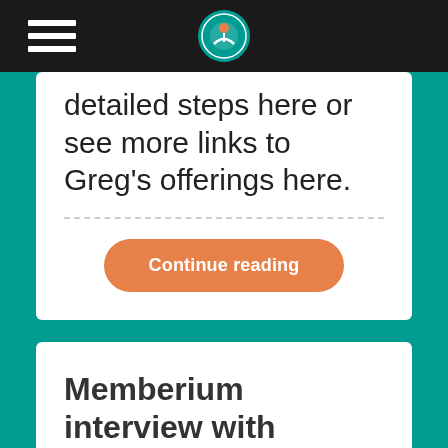Navigation bar with hamburger menu and logo
detailed steps here or see more links to Greg's offerings here.
Continue reading
Memberium interview with Michael Hunter of